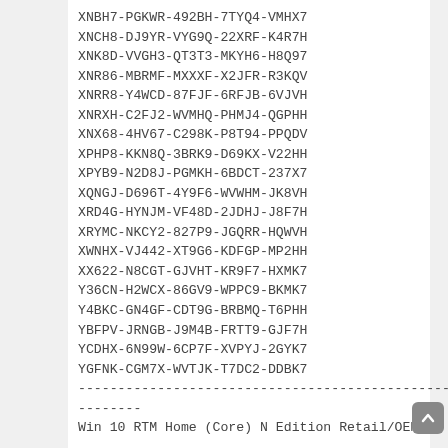XNBH7-PGKWR-492BH-7TYQ4-VMHX7
XNCH8-DJ9YR-VYG9Q-22XRF-K4R7H
XNK8D-VVGH3-QT3T3-MKYH6-H8Q97
XNR86-MBRMF-MXXXF-X2JFR-R3KQV
XNRR8-Y4WCD-87FJF-6RFJB-6VJVH
XNRXH-C2FJ2-WVMHQ-PHMJ4-QGPHH
XNX68-4HV67-C298K-P8T94-PPQDV
XPHP8-KKN8Q-3BRK9-D69KX-V22HH
XPYB9-N2D8J-PGMKH-6BDCT-237X7
XQNGJ-D696T-4Y9F6-WVWHM-JK8VH
XRD4G-HYNJM-VF48D-2JDHJ-J8F7H
XRYMC-NKCY2-827P9-JGQRR-HQWVH
XWNHX-VJ442-XT9G6-KDFGP-MP2HH
XX622-N8CGT-GJVHT-KR9F7-HXMK7
Y36CN-H2WCX-86GV9-WPPC9-BKMK7
Y4BKC-GN4GF-CDT9G-BRBMQ-T6PHH
YBFPV-JRNGB-J9M4B-FRTT9-GJF7H
YCDHX-6N99W-6CP7F-XVPYJ-2GYK7
YGFNK-CGM7X-WVTJK-T7DC2-DDBK7
--------------------------------------------------
--------
Win 10 RTM Home (Core) N Edition Retail/OEM:DM